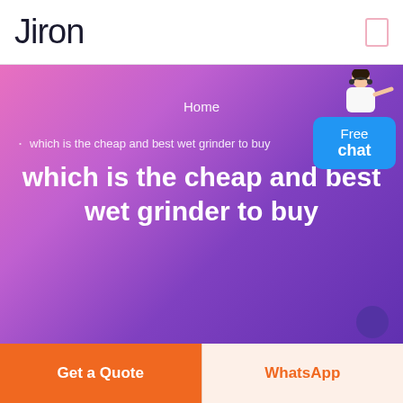Jiron
[Figure (illustration): Hero banner with purple-to-pink gradient background, showing breadcrumb 'Home > which is the cheap and best wet grinder to buy', page title 'which is the cheap and best wet grinder to buy', a customer service person illustration in top right, and a blue Free chat badge]
Get a Quote
WhatsApp